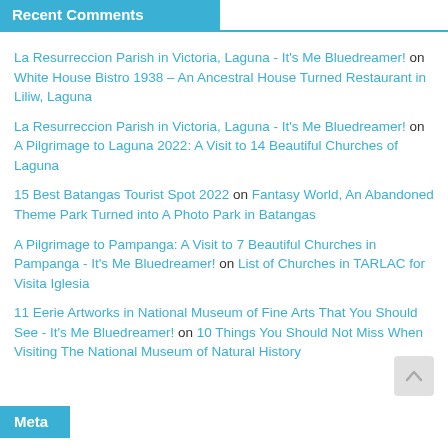Recent Comments
La Resurreccion Parish in Victoria, Laguna - It's Me Bluedreamer! on White House Bistro 1938 – An Ancestral House Turned Restaurant in Liliw, Laguna
La Resurreccion Parish in Victoria, Laguna - It's Me Bluedreamer! on A Pilgrimage to Laguna 2022: A Visit to 14 Beautiful Churches of Laguna
15 Best Batangas Tourist Spot 2022 on Fantasy World, An Abandoned Theme Park Turned into A Photo Park in Batangas
A Pilgrimage to Pampanga: A Visit to 7 Beautiful Churches in Pampanga - It's Me Bluedreamer! on List of Churches in TARLAC for Visita Iglesia
11 Eerie Artworks in National Museum of Fine Arts That You Should See - It's Me Bluedreamer! on 10 Things You Should Not Miss When Visiting The National Museum of Natural History
Meta